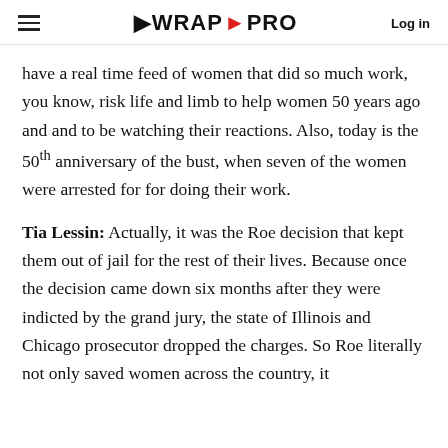WRAP PRO  Log in
have a real time feed of women that did so much work, you know, risk life and limb to help women 50 years ago and and to be watching their reactions. Also, today is the 50th anniversary of the bust, when seven of the women were arrested for for doing their work.
Tia Lessin: Actually, it was the Roe decision that kept them out of jail for the rest of their lives. Because once the decision came down six months after they were indicted by the grand jury, the state of Illinois and Chicago prosecutor dropped the charges. So Roe literally not only saved women across the country, it